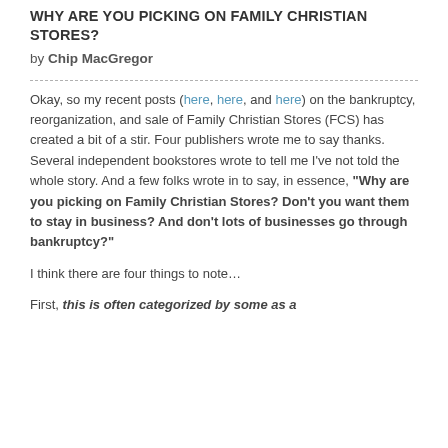WHY ARE YOU PICKING ON FAMILY CHRISTIAN STORES?
by Chip MacGregor
Okay, so my recent posts (here, here, and here) on the bankruptcy, reorganization, and sale of Family Christian Stores (FCS) has created a bit of a stir. Four publishers wrote me to say thanks. Several independent bookstores wrote to tell me I've not told the whole story. And a few folks wrote in to say, in essence, "Why are you picking on Family Christian Stores? Don't you want them to stay in business? And don't lots of businesses go through bankruptcy?"
I think there are four things to note...
First, this is often categorized by some as a...